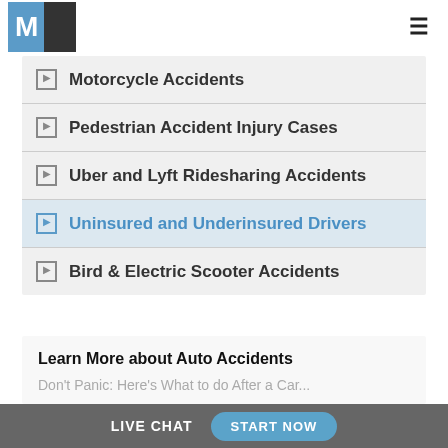M logo and hamburger menu
Motorcycle Accidents
Pedestrian Accident Injury Cases
Uber and Lyft Ridesharing Accidents
Uninsured and Underinsured Drivers
Bird & Electric Scooter Accidents
Learn More about Auto Accidents
Don't Panic: Here's What to do After a Car...
LIVE CHAT  START NOW